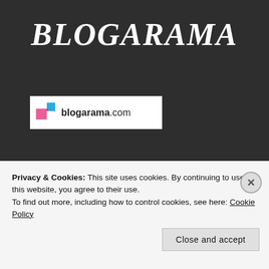BLOGARAMA
[Figure (logo): Blogarama.com logo: colored overlapping squares (pink and blue) next to text 'blogarama.com' on white background]
ACTIVATE BY BLOGLOVIN
Privacy & Cookies: This site uses cookies. By continuing to use this website, you agree to their use. To find out more, including how to control cookies, see here: Cookie Policy
Close and accept